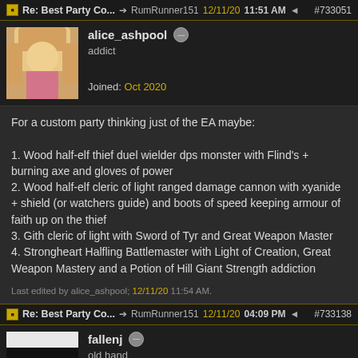Re: Best Party Co... → RumRunner151  12/11/20  11:51 AM  #733051
alice_ashpool
addict
Joined: Oct 2020
For a custom party thinking just of the EA maybe:

1. Wood half-elf thief duel wielder dps monster with Flind's + burning axe and gloves of power
2. Wood half-elf cleric of light ranged damage cannon with xyanide + shield (or watchers guide) and boots of speed keeping armour of faith up on the thief
3. Gith cleric of light with Sword of Tyr and Great Weapon Master
4. Strongheart Halfling Battlemaster with Light of Creation, Great Weapon Mastery and a Potion of Hill Giant Strength addiction
Last edited by alice_ashpool; 12/11/20 11:54 AM.
Re: Best Party Co... → RumRunner151  12/11/20  04:09 PM  #733138
fallenj
old hand
Joined: Oct 2020
Originally Posted by RumRunner151